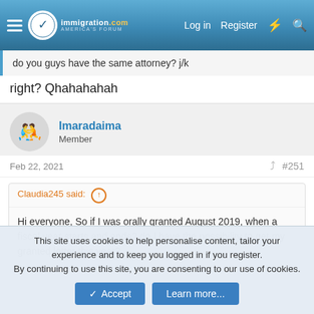[Figure (screenshot): Immigration.com website navigation bar with hamburger menu, logo, Log in, Register, lightning bolt and search icons]
do you guys have the same attorney? j/k
right? Qhahahahah
Imaradaima
Member
Feb 22, 2021
#251
Claudia245 said:
Hi everyone, So if I was orally granted August 2019, when a fiscal year starts and ends? do I have the possibility to get my granted letter this year?
This site uses cookies to help personalise content, tailor your experience and to keep you logged in if you register.
By continuing to use this site, you are consenting to our use of cookies.